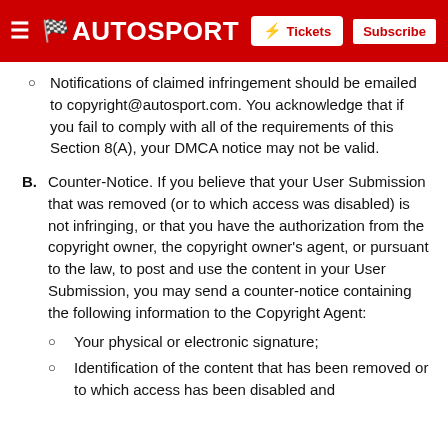AUTOSPORT
Notifications of claimed infringement should be emailed to copyright@autosport.com. You acknowledge that if you fail to comply with all of the requirements of this Section 8(A), your DMCA notice may not be valid.
B. Counter-Notice. If you believe that your User Submission that was removed (or to which access was disabled) is not infringing, or that you have the authorization from the copyright owner, the copyright owner's agent, or pursuant to the law, to post and use the content in your User Submission, you may send a counter-notice containing the following information to the Copyright Agent:
Your physical or electronic signature;
Identification of the content that has been removed or to which access has been disabled and